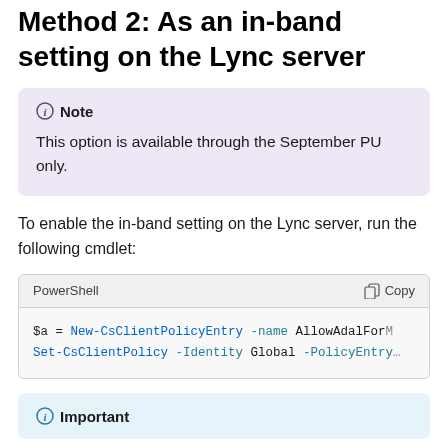Method 2: As an in-band setting on the Lync server
Note
This option is available through the September PU only.
To enable the in-band setting on the Lync server, run the following cmdlet:
PowerShell
$a = New-CsClientPolicyEntry -name AllowAdalFor...
Set-CsClientPolicy -Identity Global -PolicyEntry...
Important